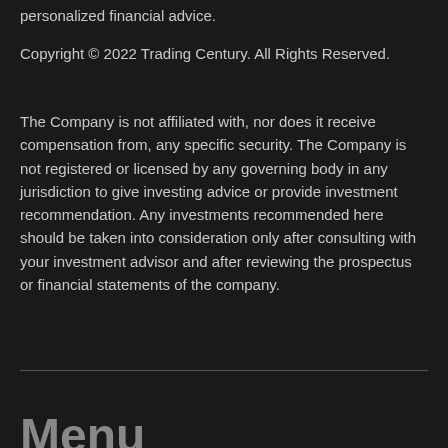personalized financial advice.
Copyright © 2022 Trading Century. All Rights Reserved.
The Company is not affiliated with, nor does it receive compensation from, any specific security. The Company is not registered or licensed by any governing body in any jurisdiction to give investing advice or provide investment recommendation. Any investments recommended here should be taken into consideration only after consulting with your investment advisor and after reviewing the prospectus or financial statements of the company.
Menu